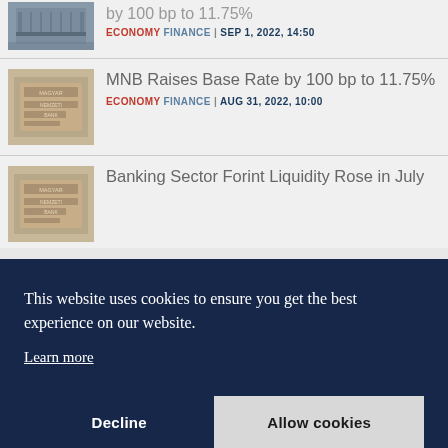[Figure (photo): Partial view of a building photo thumbnail (top of page, cropped)]
by 100 bp to 11.75%
ECONOMY FINANCE | SEP 1, 2022, 14:50
[Figure (photo): Photo thumbnail of a Magyar Nemzeti Bank plaque/sign]
MNB Raises Base Rate by 100 bp to 11.75%
ECONOMY FINANCE | AUG 31, 2022, 10:00
[Figure (photo): Photo thumbnail of Magyar Nemzeti Bank plaque/sign]
Banking Sector Forint Liquidity Rose in July
This website uses cookies to ensure you get the best experience on our website.
Learn more
Decline
Allow cookies